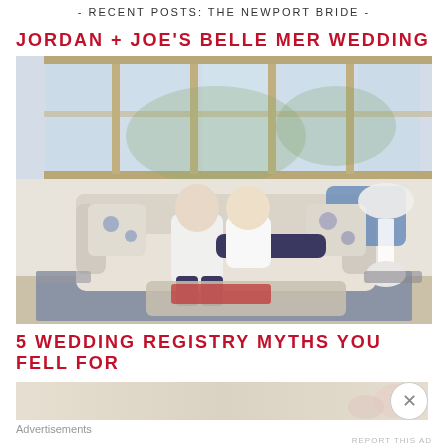- RECENT POSTS: THE NEWPORT BRIDE -
JORDAN + JOE'S BELLE MER WEDDING
[Figure (photo): A couple seated on a cream sofa in a bright living room with large windows. The man wears a white shirt and dark jeans, the woman reclines in jeans. Decorative blue polka-dot pillows are visible. A coffee table with books is in the foreground. A white table lamp is on the right.]
5 WEDDING REGISTRY MYTHS YOU FELL FOR
[Figure (photo): Partially visible advertisement image at the bottom of the page, cropped.]
Advertisements
REPORT THIS AD